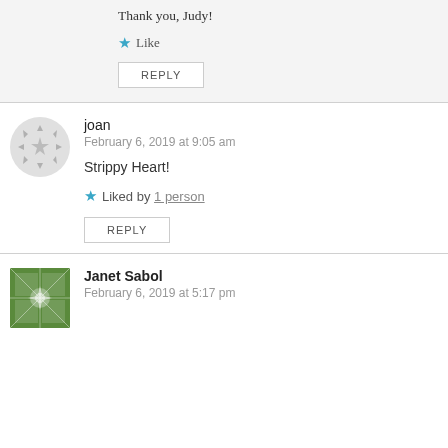Thank you, Judy!
Like
REPLY
joan
February 6, 2019 at 9:05 am
Strippy Heart!
Liked by 1 person
REPLY
Janet Sabol
February 6, 2019 at 5:17 pm